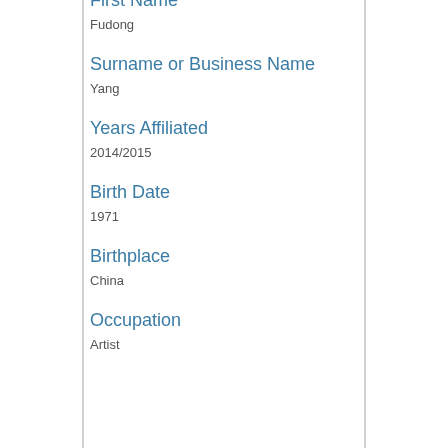First Name
Fudong
Surname or Business Name
Yang
Years Affiliated
2014/2015
Birth Date
1971
Birthplace
China
Occupation
Artist